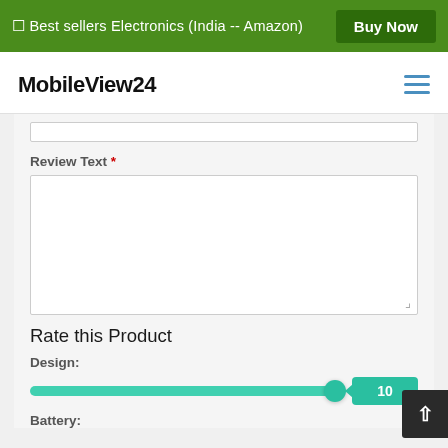[Figure (screenshot): Green advertisement banner with text 'Best sellers Electronics (India -- Amazon)' and a 'Buy Now' button on the right.]
[Figure (screenshot): MobileView24 website navigation bar with logo on left and hamburger menu icon on right.]
Review Text *
[Figure (screenshot): Empty textarea input field for review text.]
Rate this Product
Design:
[Figure (screenshot): Horizontal slider for Design rating showing value 10, with teal/green filled track and circular thumb at the right end.]
Battery: